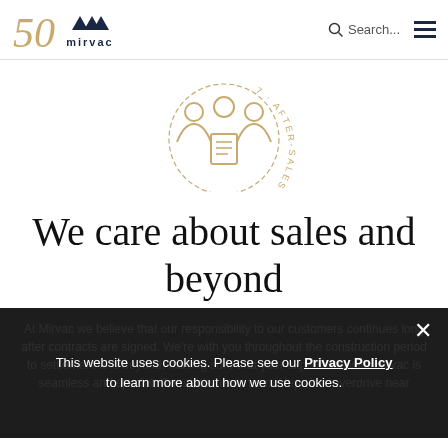Mirvac 50 - Navigation header with search
[Figure (logo): After-Sales Care Team circular badge icon with people figures]
We care about sales and beyond
At Mirvac we believe that our responsibility to our customers continues long after contracts are signed. We're with you throughout the construction period to settlement and beyond, making sure that your experience with Mirvac is seamless and special. Our settlements team steps into overdrive near
This website uses cookies. Please see our Privacy Policy to learn more about how we use cookies.